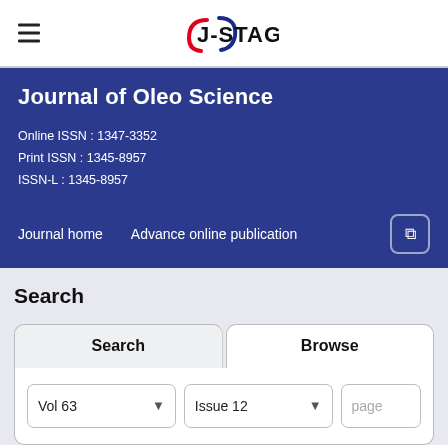J-STAGE
Journal of Oleo Science
Online ISSN : 1347-3352
Print ISSN : 1345-8957
ISSN-L : 1345-8957
Journal home    Advance online publication
Search
Search    Browse
Vol 63    Issue 12    page